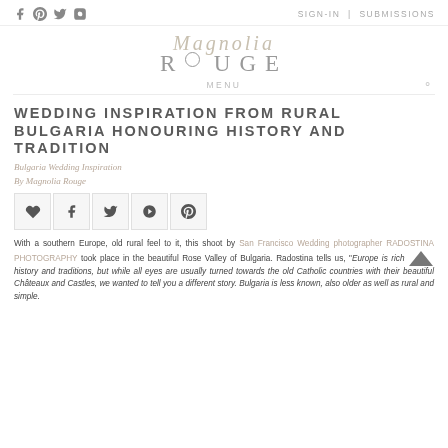Social icons: Facebook, Pinterest, Twitter, Instagram | SIGN-IN | SUBMISSIONS
[Figure (logo): Magnolia Rouge logo with script 'Magnolia' above and 'RQUGE' in spaced serif caps]
MENU (navigation bar with search icon)
WEDDING INSPIRATION FROM RURAL BULGARIA HONOURING HISTORY AND TRADITION
Bulgaria Wedding Inspiration
By Magnolia Rouge
[Figure (infographic): Social share buttons: heart/like, Facebook, Twitter, Google+, Pinterest]
With a southern Europe, old rural feel to it, this shoot by San Francisco Wedding photographer RADOSTINA PHOTOGRAPHY took place in the beautiful Rose Valley of Bulgaria. Radostina tells us, "Europe is rich in history and traditions, but while all eyes are usually turned towards the old Catholic countries with their beautiful Châteaux and Castles, we wanted to tell you a different story. Bulgaria is less known, also older as well as rural and simple.